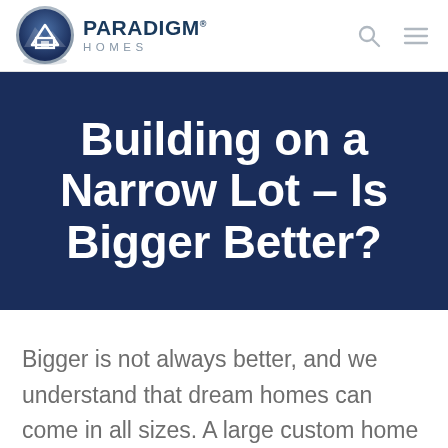[Figure (logo): Paradigm Homes logo: circular badge with house/mountain icon in dark blue and grey, with text PARADIGM HOMES to the right]
Building on a Narrow Lot – Is Bigger Better?
Bigger is not always better, and we understand that dream homes can come in all sizes. A large custom home may not be the answer for